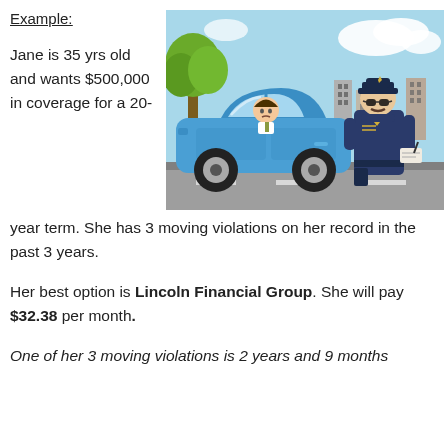Example:
Jane is 35 yrs old and wants $500,000 in coverage for a 20-year term. She has 3 moving violations on her record in the past 3 years.
[Figure (illustration): Cartoon illustration of a police officer writing a ticket for a driver in a blue car, with trees and buildings in the background.]
Her best option is Lincoln Financial Group. She will pay $32.38 per month.
One of her 3 moving violations is 2 years and 9 months old...